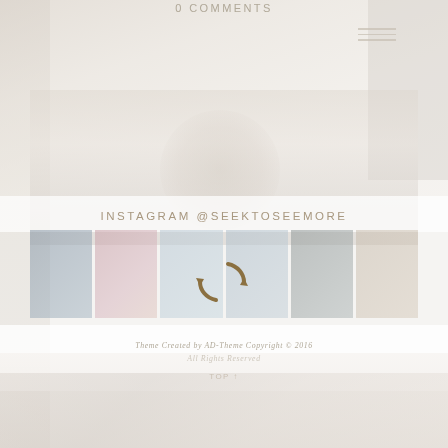0 COMMENTS
[Figure (screenshot): Faint background photo of a figure/person, very washed out]
INSTAGRAM @SEEKTOSEEMORE
[Figure (photo): Instagram grid showing 6 faded thumbnail photos in a horizontal strip, with a loading spinner icon overlay]
Theme Created by AD-Theme Copyright © 2016 All Rights Reserved
TOP ↑